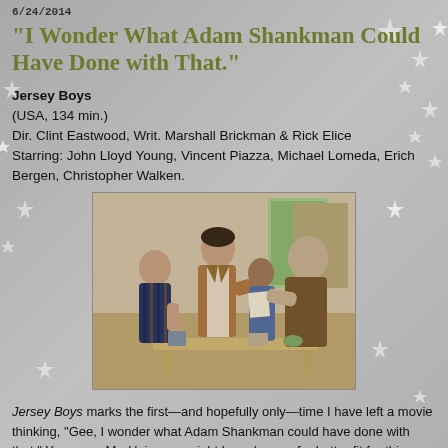6/24/2014
“I Wonder What Adam Shankman Could Have Done with That.”
Jersey Boys
(USA, 134 min.)
Dir. Clint Eastwood, Writ. Marshall Brickman & Rick Elice
Starring: John Lloyd Young, Vincent Piazza, Michael Lomeda, Erich Bergen, Christopher Walken.
[Figure (photo): Scene from Jersey Boys film showing four men in a room, appearing to be in a confrontational or tense interaction.]
Jersey Boys marks the first—and hopefully only—time I have left a movie thinking, “Gee, I wonder what Adam Shankman could have done with that.” Yes, even Mr. Hairspray might have been a far better fit for this Broadway adaptation than